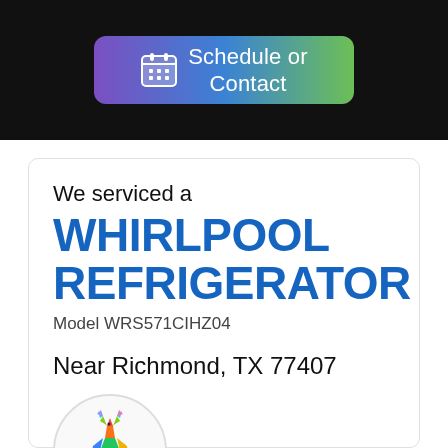[Figure (illustration): Schedule or Contact button with calendar icon, gradient purple to green background, on black banner]
We serviced a
WHIRLPOOL REFRIGERATOR
Model WRS571CIHZ04
Near Richmond, TX 77407
[Figure (logo): Colorful polygonal deer logo inside a circle]